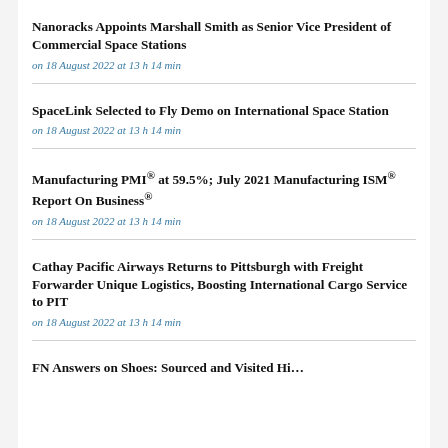Nanoracks Appoints Marshall Smith as Senior Vice President of Commercial Space Stations
on 18 August 2022 at 13 h 14 min
SpaceLink Selected to Fly Demo on International Space Station
on 18 August 2022 at 13 h 14 min
Manufacturing PMI® at 59.5%; July 2021 Manufacturing ISM® Report On Business®
on 18 August 2022 at 13 h 14 min
Cathay Pacific Airways Returns to Pittsburgh with Freight Forwarder Unique Logistics, Boosting International Cargo Service to PIT
on 18 August 2022 at 13 h 14 min
FN Answers on Shoes: Sourced and Visited Hi…